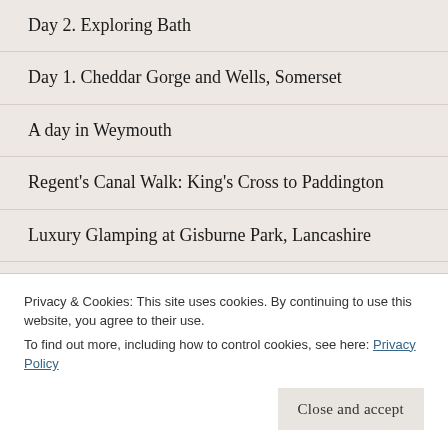Day 2. Exploring Bath
Day 1. Cheddar Gorge and Wells, Somerset
A day in Weymouth
Regent's Canal Walk: King's Cross to Paddington
Luxury Glamping at Gisburne Park, Lancashire
Day 3. A walk from Cambridge to Grantchester
Privacy & Cookies: This site uses cookies. By continuing to use this website, you agree to their use.
To find out more, including how to control cookies, see here: Privacy Policy
Close and accept